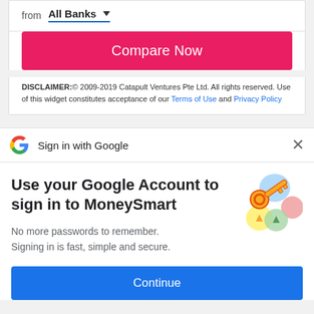from  All Banks ▼
[Figure (screenshot): Compare Now button (pink/red rounded rectangle)]
DISCLAIMER:© 2009-2019 Catapult Ventures Pte Ltd. All rights reserved. Use of this widget constitutes acceptance of our Terms of Use and Privacy Policy
[Figure (screenshot): Sign in with Google bar with Google G logo and close X button]
Use your Google Account to sign in to MoneySmart
No more passwords to remember. Signing in is fast, simple and secure.
[Figure (illustration): Google sign-in illustration with colorful key and circular icons]
[Figure (screenshot): Continue button (blue rounded rectangle)]